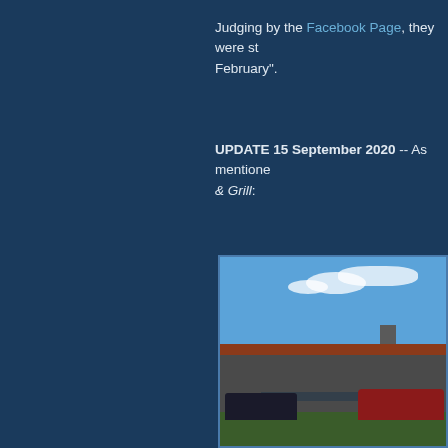Judging by the Facebook Page, they were st... February".
UPDATE 15 September 2020 -- As mentioned... & Grill:
[Figure (photo): Exterior photo of a low-slung commercial building with a dark roof and orange/brown trim. Two cars parked in front — one dark colored on the left and one red on the right. Blue sky with light clouds above, trees visible at left, green grass in foreground.]